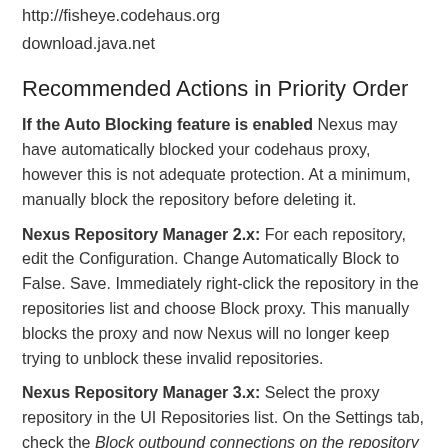http://fisheye.codehaus.org
download.java.net
Recommended Actions in Priority Order
If the Auto Blocking feature is enabled Nexus may have automatically blocked your codehaus proxy, however this is not adequate protection. At a minimum, manually block the repository before deleting it.
Nexus Repository Manager 2.x: For each repository, edit the Configuration. Change Automatically Block to False. Save. Immediately right-click the repository in the repositories list and choose Block proxy. This manually blocks the proxy and now Nexus will no longer keep trying to unblock these invalid repositories.
Nexus Repository Manager 3.x: Select the proxy repository in the UI Repositories list. On the Settings tab, check the Block outbound connections on the repository checkbox and Save the